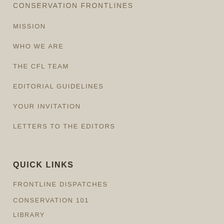CONSERVATION FRONTLINES
MISSION
WHO WE ARE
THE CFL TEAM
EDITORIAL GUIDELINES
YOUR INVITATION
LETTERS TO THE EDITORS
QUICK LINKS
FRONTLINE DISPATCHES
CONSERVATION 101
LIBRARY
ARCHIVE
SUPPORT MULE DEER